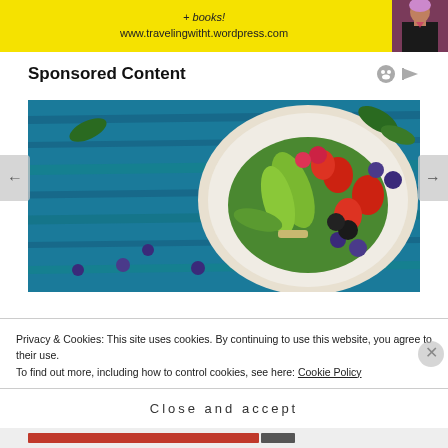[Figure (photo): Yellow banner with text '+ books! www.travelingwitht.wordpress.com' and a person in dark clothing on the right side]
Sponsored Content
[Figure (photo): Top-down view of a colorful fruit and vegetable bowl on a blue wooden table background, featuring strawberries, blackberries, blueberries, avocado slices, and leafy greens]
Privacy & Cookies: This site uses cookies. By continuing to use this website, you agree to their use.
To find out more, including how to control cookies, see here: Cookie Policy
Close and accept